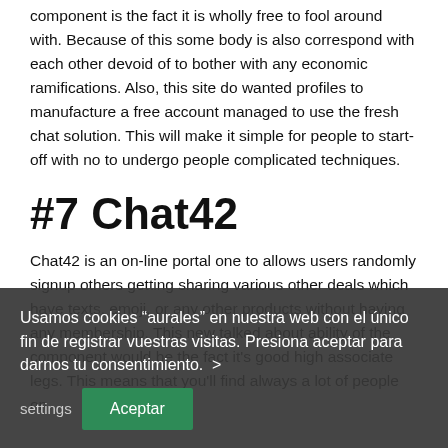component is the fact it is wholly free to fool around with. Because of this some body is also correspond with each other devoid of to bother with any economic ramifications. Also, this site do wanted profiles to manufacture a free account managed to use the fresh chat solution. This will make it simple for people to start-off with no to undergo people complicated techniques.
#7 Chat42
Chat42 is an on-line portal one to allows users randomly signup others getting sharing various other deals which have texts, emoji, or any other products without having any membership. This new talked about ability of the component would be the fact it's good high associate legs. This means that you'll find always a lot of people on
Usamos cookies "aurales" en nuestra web con el único fin de registrar vuestras visitas. Presiona aceptar para darnos tu consentimiento. >
settings